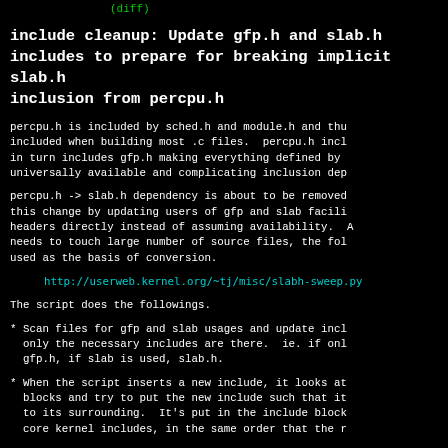(diff)
include cleanup: Update gfp.h and slab.h includes to prepare for breaking implicit slab.h inclusion from percpu.h
percpu.h is included by sched.h and module.h and thu included when building most .c files.  percpu.h incl in turn includes gfp.h making everything defined by  universally available and complicating inclusion dep
percpu.h -> slab.h dependency is about to be removed this change by updating users of gfp and slab facili headers directly instead of assuming availability.  A needs to touch large number of source files, the fol used as the basis of conversion.
http://userweb.kernel.org/~tj/misc/slabh-sweep.py
The script does the followings.
* Scan files for gfp and slab usages and update incl only the necessary includes are there.  ie. if onl gfp.h, if slab is used, slab.h.
* When the script inserts a new include, it looks at blocks and try to put the new include such that it to its surrounding.  It's put in the include block core kernel includes, in the same order that the r